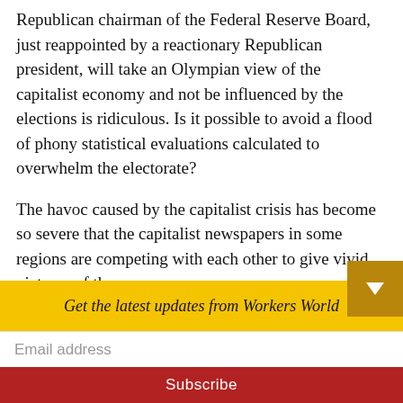Republican chairman of the Federal Reserve Board, just reappointed by a reactionary Republican president, will take an Olympian view of the capitalist economy and not be influenced by the elections is ridiculous. Is it possible to avoid a flood of phony statistical evaluations calculated to overwhelm the electorate?
The havoc caused by the capitalist crisis has become so severe that the capitalist newspapers in some regions are competing with each other to give vivid pictures of the
Get the latest updates from Workers World
Email address
Subscribe